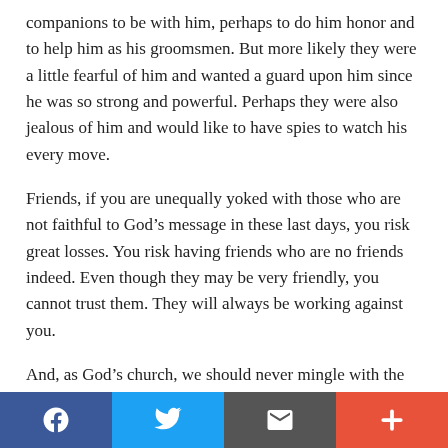companions to be with him, perhaps to do him honor and to help him as his groomsmen. But more likely they were a little fearful of him and wanted a guard upon him since he was so strong and powerful. Perhaps they were also jealous of him and would like to have spies to watch his every move.
Friends, if you are unequally yoked with those who are not faithful to God's message in these last days, you risk great losses. You risk having friends who are no friends indeed. Even though they may be very friendly, you cannot trust them. They will always be working against you.
And, as God's church, we should never mingle with the enemies of the truth as if to participate in their feasts and join them in their festivities. Ecumenical worship services and other ecumenical meetings are truly forbidden. Remember, the daughters of Babylon are enticing. They will, however, find a way to learn the secret of our strength.
Social share bar: Facebook, Twitter, Email, Add